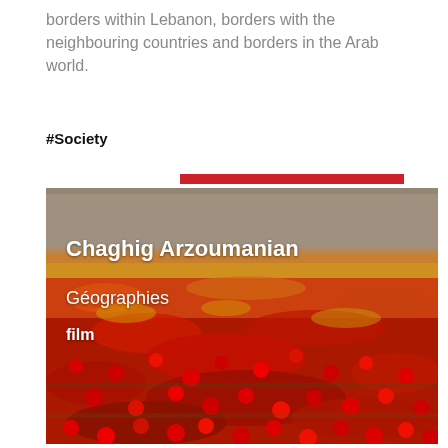borders within Lebanon, borders with the neighbouring countries and borders in the Arab world.
#Society
[Figure (photo): A wide field of bright red poppies and orange-yellow wildflowers stretching to the horizon under a hazy sky, with overlaid text: 'Chaghig Arzoumanian', 'Géographies', 'film'. A red horizontal bar decoration appears above the image.]